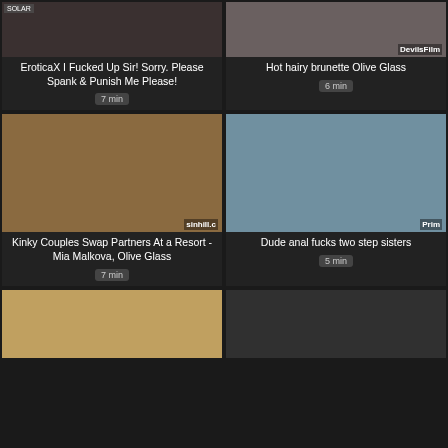[Figure (photo): Video thumbnail - adult content]
EroticaX I Fucked Up Sir! Sorry. Please Spank & Punish Me Please!
7 min
[Figure (photo): Video thumbnail - adult content, DevilsFilm watermark]
Hot hairy brunette Olive Glass
6 min
[Figure (photo): Video thumbnail - group adult content, sinhill.c watermark]
Kinky Couples Swap Partners At a Resort - Mia Malkova, Olive Glass
7 min
[Figure (photo): Video thumbnail - two women in kitchen, Prim watermark]
Dude anal fucks two step sisters
5 min
[Figure (photo): Video thumbnail - person with colorful background]
[Figure (photo): Video thumbnail - dark interior scene]